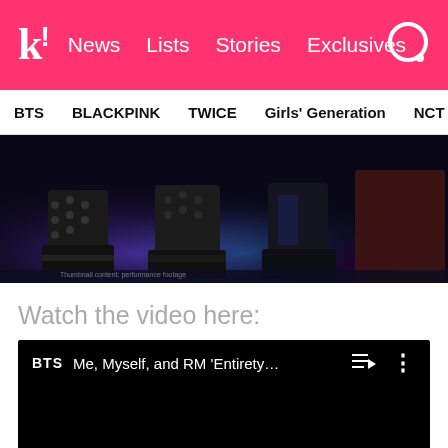k! News Lists Stories Exclusives
BTS BLACKPINK TWICE Girls' Generation NCT aespa
[Figure (photo): Close-up photo of boots/footwear on a stage with purple and blue lighting, dark background]
Watch the video here:
[Figure (screenshot): YouTube video embed showing BTS video titled 'Me, Myself, and RM 'Entirety...' with playlist and more options icons, black background]